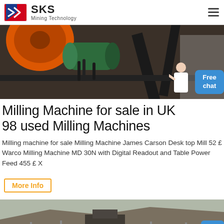SKS Mining Technology
[Figure (photo): Industrial milling machine close-up showing orange wheel, green motor, and black metal frame components]
Milling Machine for sale in UK 98 used Milling Machines
Milling machine for sale Milling Machine James Carson Desk top Mill 52 £ Warco Milling Machine MD 30N with Digital Readout and Table Power Feed 455 £ X
More Info
[Figure (photo): Outdoor mining site with machinery and equipment set against a hillside terrain]